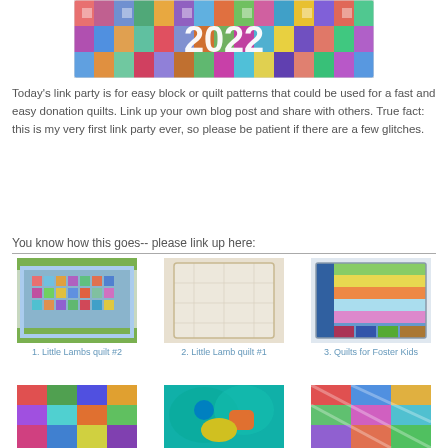[Figure (photo): Banner image showing a colorful patchwork quilt with text '2022' in white over it]
Today's link party is for easy block or quilt patterns that could be used for a fast and easy donation quilts. Link up your own blog post and share with others. True fact: this is my very first link party ever, so please be patient if there are a few glitches.
You know how this goes-- please link up here:
[Figure (photo): Thumbnail 1: A colorful small quilt laid on grass, labeled '1. Little Lambs quilt #2']
1. Little Lambs quilt #2
[Figure (photo): Thumbnail 2: A cream/beige quilt laid flat, labeled '2. Little Lamb quilt #1']
2. Little Lamb quilt #1
[Figure (photo): Thumbnail 3: A bright striped quilt with blue and green blocks, labeled '3. Quilts for Foster Kids']
3. Quilts for Foster Kids
[Figure (photo): Thumbnail 4 (partial): A colorful block quilt in bottom row]
[Figure (photo): Thumbnail 5 (partial): A vibrant teal/aqua quilt in bottom row]
[Figure (photo): Thumbnail 6 (partial): A multi-colored block quilt in bottom row]